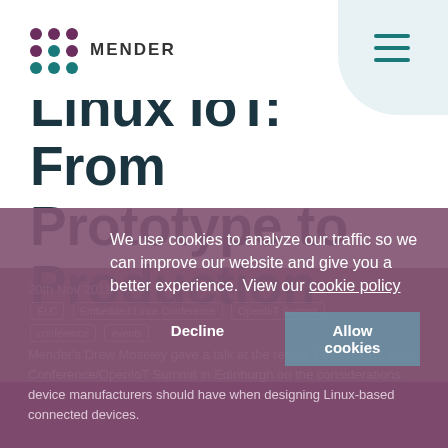MENDER
Linux IoT: From Prototype to Production
20th Nov 2018
ELC | Embedded Linux Conference | OpenIoT Summit | conference | events
Mender's Drew Moseley gave a talk at the recent Embedded Linux Conference/OpenIoT Summit in Edinburgh on the considerations device manufacturers should have when designing Linux-based connected devices.
We use cookies to analyze our traffic so we can improve our website and give you a better experience. View our cookie policy